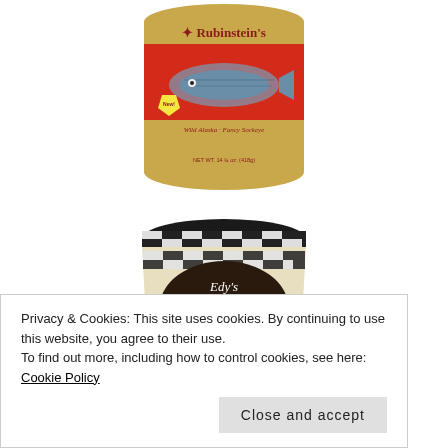[Figure (photo): Rubinstein's Wild Alaska Fancy Sockeye Red Salmon canned product, red can with salmon fish illustration]
[Figure (photo): Edy's Slow Churned Rich & Creamy Chocolate ice cream tub with black and white checkered band]
Privacy & Cookies: This site uses cookies. By continuing to use this website, you agree to their use.
To find out more, including how to control cookies, see here: Cookie Policy
Close and accept